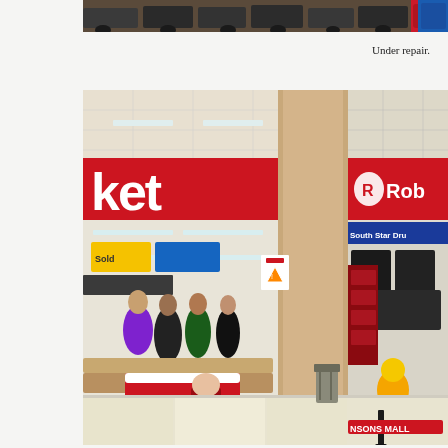[Figure (photo): Partial top strip showing motorcycles or vehicles in a showroom, cropped at top edge of page.]
Under repair.
[Figure (photo): Interior of a Robinsons Mall shopping center in the Philippines. A supermarket entrance with a large red banner reading 'ket' (part of 'Market') is visible on the left. To the right is a Robinsons department store entrance with red signage and the Robinsons 'R' logo. South Star Drug store is visible in the background. A Selecta ice cream freezer cart is in the foreground. A barrier post with 'NSONS MALL' text and shoppers are visible.]